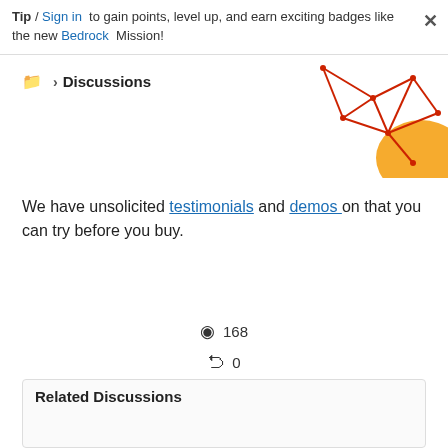Tip / Sign in to gain points, level up, and earn exciting badges like the new Bedrock Mission!
Discussions
[Figure (illustration): Decorative geometric network/molecule diagram with red lines and an orange circle in the top-right corner]
We have unsolicited testimonials and demos on that you can try before you buy.
168
0
0 Likes
Translate
Reply
Related Discussions